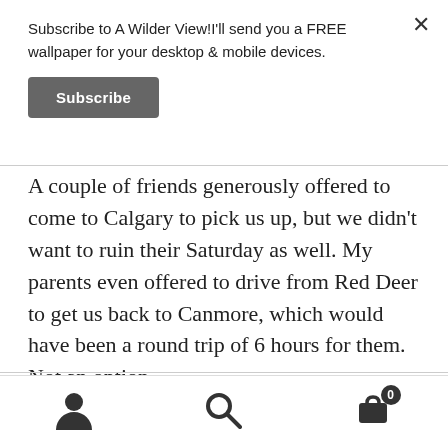Subscribe to A Wilder View!I'll send you a FREE wallpaper for your desktop & mobile devices.
Subscribe
A couple of friends generously offered to come to Calgary to pick us up, but we didn't want to ruin their Saturday as well. My parents even offered to drive from Red Deer to get us back to Canmore, which would have been a round trip of 6 hours for them. Not an option.
We did accept a ride from the shuttle drop-off in
[Figure (other): Bottom navigation bar with user/account icon, search icon, and shopping cart icon with badge showing 0]